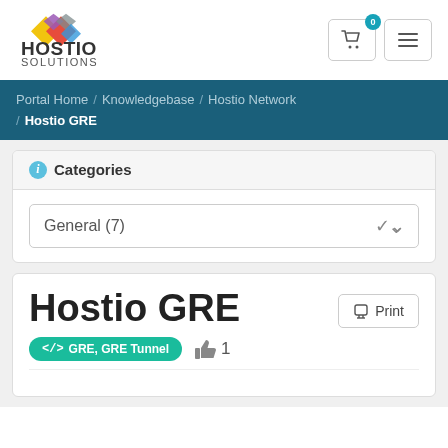Hostio Solutions logo, cart button with badge 0, menu button
Portal Home / Knowledgebase / Hostio Network / Hostio GRE
Categories
General (7)
Hostio GRE
GRE, GRE Tunnel   1